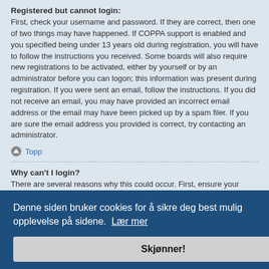Registered but cannot login:
First, check your username and password. If they are correct, then one of two things may have happened. If COPPA support is enabled and you specified being under 13 years old during registration, you will have to follow the instructions you received. Some boards will also require new registrations to be activated, either by yourself or by an administrator before you can logon; this information was present during registration. If you were sent an email, follow the instructions. If you did not receive an email, you may have provided an incorrect email address or the email may have been picked up by a spam filer. If you are sure the email address you provided is correct, try contacting an administrator.
Topp
Why can't I login?
There are several reasons why this could occur. First, ensure your username and password are correct. If they are, contact a board administrator to make sure you haven't been banned. It is also possible the website owner has a configuration error on their side, and they would need to fix it.
I registered in the past but cannot login any more?!
It is possible an administrator has deactivated or deleted your account for some reason. Also, many boards periodically remove users who have not posted for a long time to reduce the size of the database. If this happened, try registering again and being more involved in discussions.
Denne siden bruker cookies for å sikre deg best mulig opplevelse på sidene.  Lær mer
Skjønner!